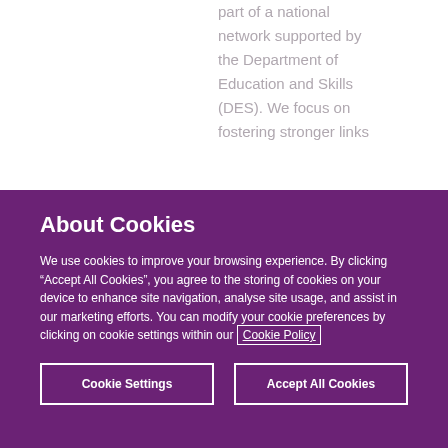part of a national network supported by the Department of Education and Skills (DES). We focus on fostering stronger links
About Cookies
We use cookies to improve your browsing experience. By clicking “Accept All Cookies”, you agree to the storing of cookies on your device to enhance site navigation, analyse site usage, and assist in our marketing efforts. You can modify your cookie preferences by clicking on cookie settings within our Cookie Policy
Cookie Settings
Accept All Cookies